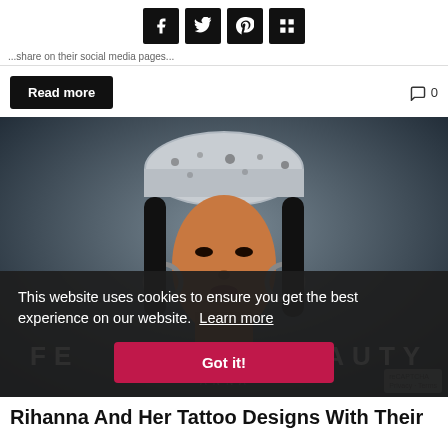[Figure (other): Social media share buttons: Facebook, Twitter, Pinterest, Mix (dark square icons)]
...share on their social media pages...
Read more
0
[Figure (photo): Photo of Rihanna wearing a snakeskin bucket hat and large hoop earrings, in front of a Fenty Beauty backdrop. A cookie consent banner overlays the bottom portion reading: 'This website uses cookies to ensure you get the best experience on our website. Learn more' with a 'Got it!' button.]
Rihanna And Her Tattoo Designs With Their